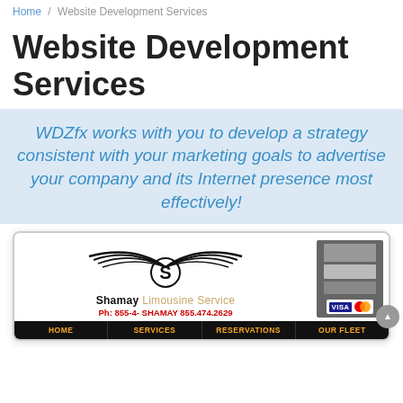Home / Website Development Services
Website Development Services
WDZfx works with you to develop a strategy consistent with your marketing goals to advertise your company and its Internet presence most effectively!
[Figure (screenshot): Screenshot of Shamay Limousine Service website showing logo with stylized wings and 'S', company name, phone number Ph: 855-4-SHAMAY 855.474.2629, payment icons (Visa, Mastercard), and navigation bar with HOME, SERVICES, RESERVATIONS, OUR FLEET]